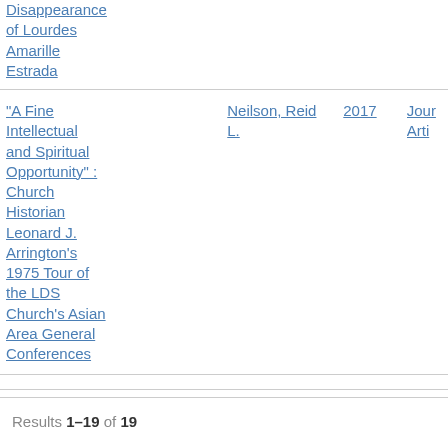| Title | Author | Year | Type |
| --- | --- | --- | --- |
| Disappearance of Lourdes Amarille Estrada |  |  |  |
| "A Fine Intellectual and Spiritual Opportunity" : Church Historian Leonard J. Arrington's 1975 Tour of the LDS Church's Asian Area General Conferences | Neilson, Reid L. | 2017 | Jour Arti |
Results 1–19 of 19